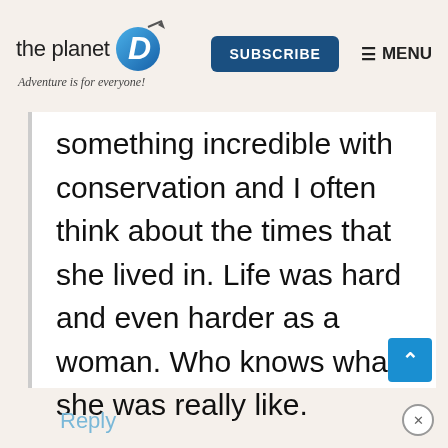the planet D — Adventure is for everyone! | SUBSCRIBE | MENU
something incredible with conservation and I often think about the times that she lived in. Life was hard and even harder as a woman. Who knows what she was really like.
Reply